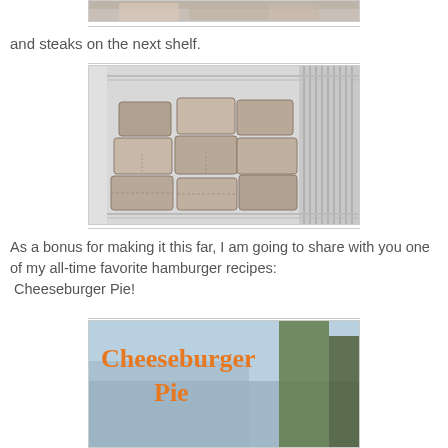[Figure (photo): Partial view of top of freezer shelf with wrapped meat packages, cropped at top of page]
and steaks on the next shelf.
[Figure (photo): Freezer shelf stacked with multiple wrapped meat packages (steaks or hamburger), with white wire freezer shelving visible]
As a bonus for making it this far, I am going to share with you one of my all-time favorite hamburger recipes: Cheeseburger Pie!
[Figure (photo): Cheeseburger Pie recipe image with orange text reading 'Cheeseburger Pie' overlaid on a photo with trees in background]